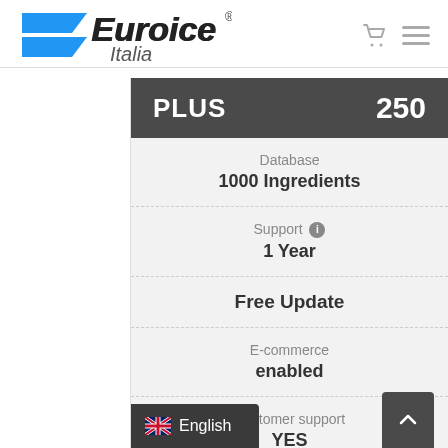[Figure (logo): Euroice Italia logo with blue parallelogram shapes and bold italic text]
PLUS 250
Database
1000 Ingredients
Support ℹ
1 Year
Free Update
E-commerce
enabled
Customer support
YES
English